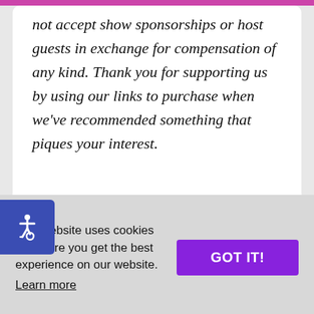not accept show sponsorships or host guests in exchange for compensation of any kind. Thank you for supporting us by using our links to purchase when we've recommended something that piques your interest.
[Figure (other): Accessibility icon (wheelchair symbol) in a dark blue rounded button on the left side of the page]
This website uses cookies to ensure you get the best experience on our website. Learn more